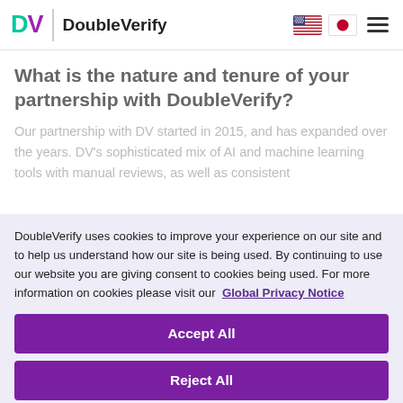DoubleVerify
What is the nature and tenure of your partnership with DoubleVerify?
Our partnership with DV started in 2015, and has expanded over the years. DV's sophisticated mix of AI and machine learning tools with manual reviews, as well as consistent
DoubleVerify uses cookies to improve your experience on our site and to help us understand how our site is being used. By continuing to use our website you are giving consent to cookies being used. For more information on cookies please visit our  Global Privacy Notice
Accept All
Reject All
Cookies Settings